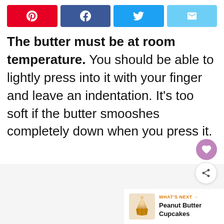[Figure (infographic): Social sharing buttons: Pinterest (red), Facebook (blue), Twitter (light blue), Email (lighter blue)]
The butter must be at room temperature. You should be able to lightly press into it with your finger and leave an indentation. It's too soft if the butter smooshes completely down when you press it.
[Figure (infographic): What's Next panel showing Peanut Butter Cupcakes with a cupcake photo thumbnail, heart button, and share button]